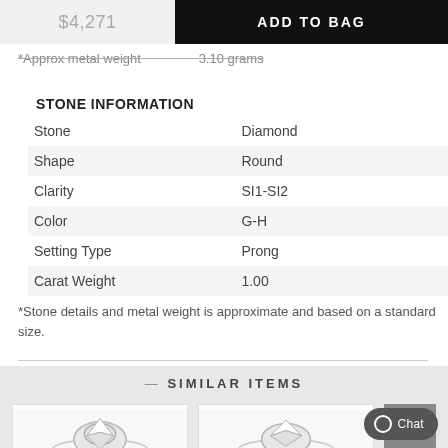$4,271  ADD TO BAG
*Approx metal weight  3.10 grams
STONE INFORMATION
| Attribute | Value |
| --- | --- |
| Stone | Diamond |
| Shape | Round |
| Clarity | SI1-SI2 |
| Color | G-H |
| Setting Type | Prong |
| Carat Weight | 1.00 |
*Stone details and metal weight is approximate and based on a standard size.
— SIMILAR ITEMS
[Figure (photo): Two diamond ring product images shown side by side in the Similar Items section]
Chat